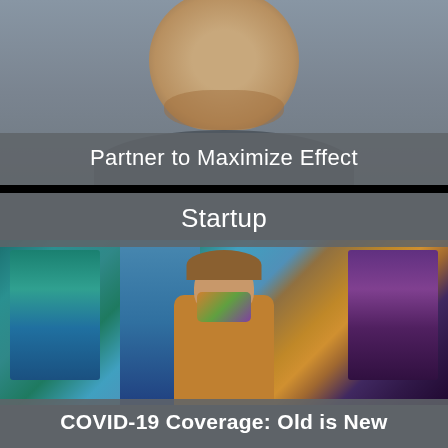[Figure (photo): Upper half shows a man with short beard wearing a gray hoodie, photographed from chest up against a neutral background]
Partner to Maximize Effect
[Figure (photo): Lower section shows a woman wearing a decorative hat and patterned face mask/covering, standing in a colorful textile/yarn shop with shelves of colorful fabric and clothing racks]
Startup
COVID-19 Coverage: Old is New